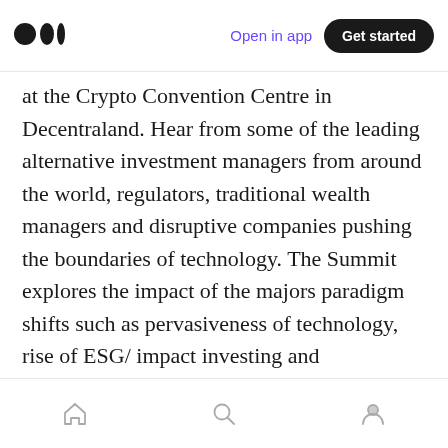Open in app | Get started
at the Crypto Convention Centre in Decentraland. Hear from some of the leading alternative investment managers from around the world, regulators, traditional wealth managers and disruptive companies pushing the boundaries of technology. The Summit explores the impact of the majors paradigm shifts such as pervasiveness of technology, rise of ESG/ impact investing and intergenerational wealth transfer and on the way families around the world preserve and grow their wealth.
Home | Search | Profile